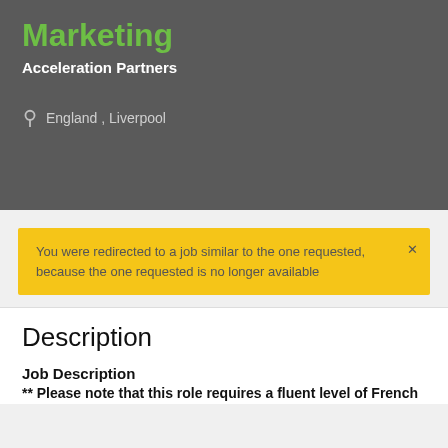Marketing
Acceleration Partners
England , Liverpool
You were redirected to a job similar to the one requested, because the one requested is no longer available
Description
Job Description
** Please note that this role requires a fluent level of French